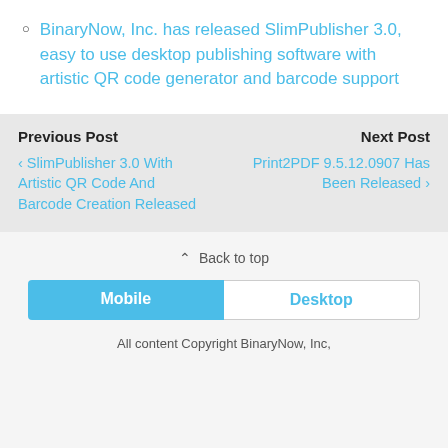BinaryNow, Inc. has released SlimPublisher 3.0, easy to use desktop publishing software with artistic QR code generator and barcode support
Previous Post | Next Post | ‹ SlimPublisher 3.0 With Artistic QR Code And Barcode Creation Released | Print2PDF 9.5.12.0907 Has Been Released ›
⌃ Back to top
Mobile | Desktop
All content Copyright BinaryNow, Inc,